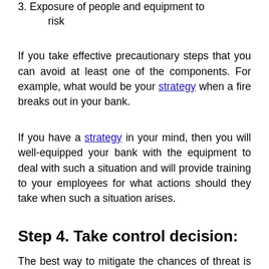3. Exposure of people and equipment to risk
If you take effective precautionary steps that you can avoid at least one of the components. For example, what would be your strategy when a fire breaks out in your bank.
If you have a strategy in your mind, then you will well-equipped your bank with the equipment to deal with such a situation and will provide training to your employees for what actions should they take when such a situation arises.
Step 4. Take control decision:
The best way to mitigate the chances of threat is by controlling it. Analyze different methods to control the situation and select the best method.